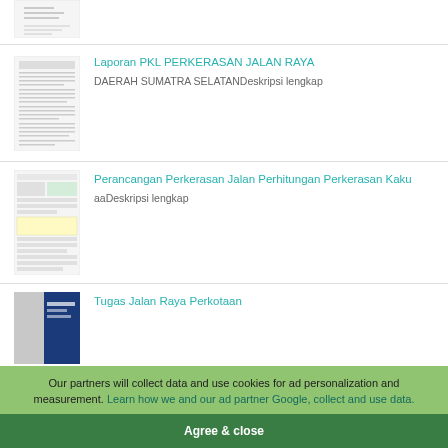[Figure (screenshot): Top partial document thumbnail showing header lines]
[Figure (screenshot): Document thumbnail for Laporan PKL PERKERASAN JALAN RAYA with text content]
Laporan PKL PERKERASAN JALAN RAYA
DAERAH SUMATRA SELATANDeskripsi lengkap
[Figure (screenshot): Document thumbnail for Perancangan Perkerasan Jalan with table/chart]
Perancangan Perkerasan Jalan Perhitungan Perkerasan Kaku
aaDeskripsi lengkap
[Figure (screenshot): Document thumbnail for Tugas Jalan Raya Perkotaan showing blue book cover]
Tugas Jalan Raya Perkotaan
Our partners will collect data and use cookies for ad personalization and measurement. Learn how we and our ad partner Google, collect and use data.
Agree & close